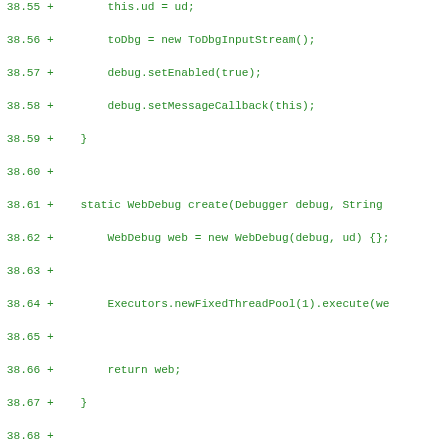Code diff showing Java source lines 38.55 through 38.86, all marked as additions (+), displaying WebDebug class methods including constructor body, static create method, run() method with try-catch, and beginning of close() method.